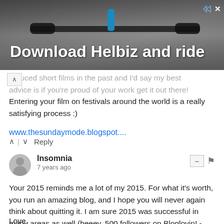[Figure (photo): Advertisement banner for Helbiz app showing bicycle handlebar in background with white bold text 'Download Helbiz and ride']
roduced short films in the past and I'd say my best advice is if you're proud of your work get it out there! Entering your film on festivals around the world is a really satisfying process :)
www.thesundaymode.blogspot....
^ | v  Reply
Insomnia
7 years ago
Your 2015 reminds me a lot of my 2015. For what it's worth, you run an amazing blog, and I hope you will never again think about quitting it. I am sure 2015 was successful in many areas as well (heeey, 500 followers on Bloglovin! - congratulations!), so keep your head up and great things will come. Wishing you lots of luck and happiness in 2016!
Love,
Insomnia /// sketchesofalife.blogspot.hr